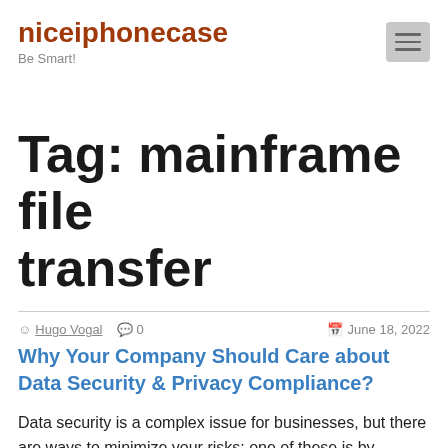niceiphonecase — Be Smart!
Tag: mainframe file transfer
Hugo Vogal   0   June 18, 2022
Why Your Company Should Care about Data Security & Privacy Compliance?
Data security is a complex issue for businesses, but there are ways to minimize your risks; one of these is by developing a compliance plan. This plan should include any relevant industry standards or regulations. It should also include best